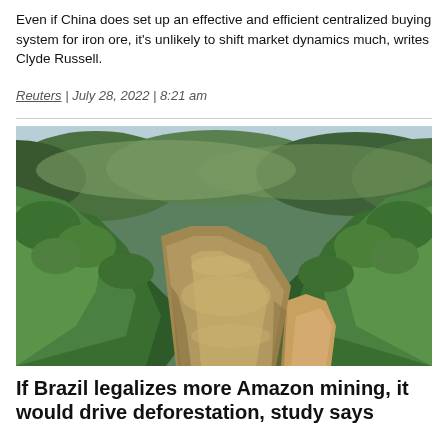Even if China does set up an effective and efficient centralized buying system for iron ore, it's unlikely to shift market dynamics much, writes Clyde Russell.
Reuters | July 28, 2022 | 8:21 am
[Figure (photo): Aerial drone photo of an Amazon river winding through dense green tropical rainforest with hills in the background and sandy riverbanks visible.]
If Brazil legalizes more Amazon mining, it would drive deforestation, study says